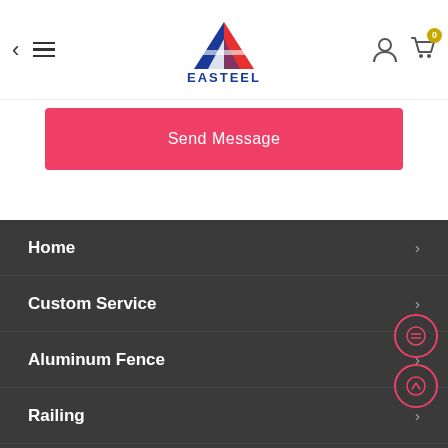[Figure (logo): Easteel logo with blue and red triangular emblem above text EASTEEL]
Send Message
Home
Custom Service
Aluminum Fence
Railing
Blogs
About Us
Contact Us